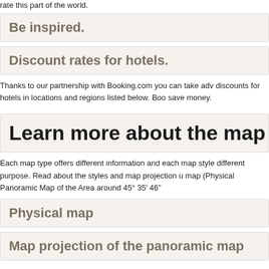rate this part of the world.
Be inspired.
Discount rates for hotels.
Thanks to our partnership with Booking.com you can take adv discounts for hotels in locations and regions listed below. Boo save money.
Learn more about the map style
Each map type offers different information and each map style different purpose. Read about the styles and map projection u map (Physical Panoramic Map of the Area around 45° 35' 46"
Physical map
Map projection of the panoramic map